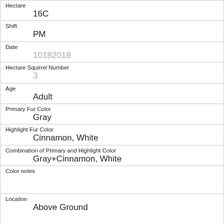| Field | Value |
| --- | --- |
| Hectare | 16C |
| Shift | PM |
| Date | 10182018 |
| Hectare Squirrel Number | 3 |
| Age | Adult |
| Primary Fur Color | Gray |
| Highlight Fur Color | Cinnamon, White |
| Combination of Primary and Highlight Color | Gray+Cinnamon, White |
| Color notes |  |
| Location | Above Ground |